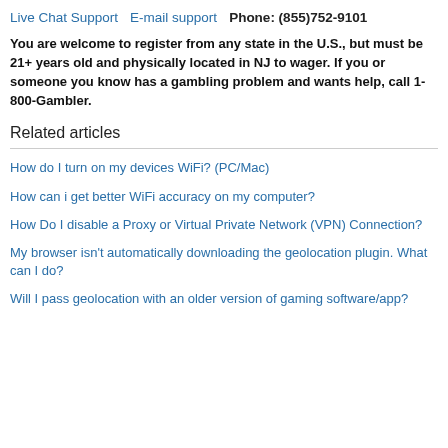Live Chat Support   E-mail support   Phone: (855)752-9101
You are welcome to register from any state in the U.S., but must be 21+ years old and physically located in NJ to wager. If you or someone you know has a gambling problem and wants help, call 1-800-Gambler.
Related articles
How do I turn on my devices WiFi? (PC/Mac)
How can i get better WiFi accuracy on my computer?
How Do I disable a Proxy or Virtual Private Network (VPN) Connection?
My browser isn't automatically downloading the geolocation plugin. What can I do?
Will I pass geolocation with an older version of gaming software/app?